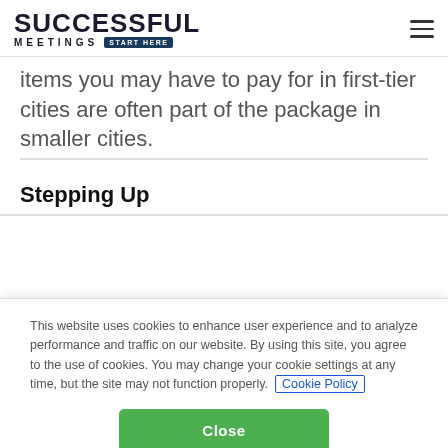SUCCESSFUL MEETINGS START HERE
items you may have to pay for in first-tier cities are often part of the package in smaller cities.
Stepping Up
This website uses cookies to enhance user experience and to analyze performance and traffic on our website. By using this site, you agree to the use of cookies. You may change your cookie settings at any time, but the site may not function properly. Cookie Policy
Close